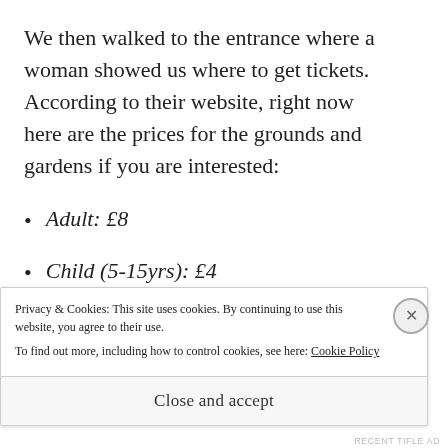We then walked to the entrance where a woman showed us where to get tickets. According to their website, right now here are the prices for the grounds and gardens if you are interested:
Adult: £8
Child (5-15yrs): £4
Child: (under 5yrs): Free
Concessions: £7
Privacy & Cookies: This site uses cookies. By continuing to use this website, you agree to their use. To find out more, including how to control cookies, see here: Cookie Policy
Close and accept